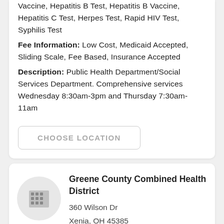Vaccine, Hepatitis B Test, Hepatitis B Vaccine, Hepatitis C Test, Herpes Test, Rapid HIV Test, Syphilis Test
Fee Information: Low Cost, Medicaid Accepted, Sliding Scale, Fee Based, Insurance Accepted
Description: Public Health Department/Social Services Department. Comprehensive services Wednesday 8:30am-3pm and Thursday 7:30am-11am
CHOOSE LOCATION
Greene County Combined Health District
360 Wilson Dr
Xenia, OH 45385
937-374-5600
Hours   11.48 mile...